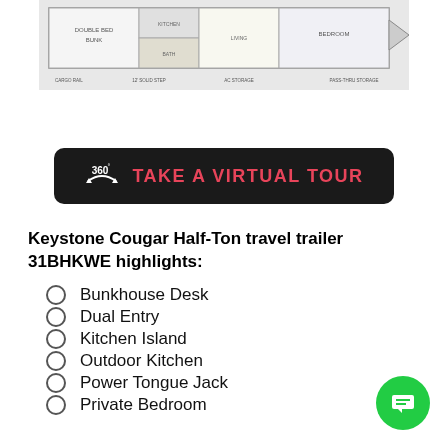[Figure (schematic): Floor plan schematic of Keystone Cougar Half-Ton travel trailer 31BHKWE showing room layout from above]
[Figure (other): Black button with 360 degree icon and text TAKE A VIRTUAL TOUR in pink/red letters]
Keystone Cougar Half-Ton travel trailer 31BHKWE highlights:
Bunkhouse Desk
Dual Entry
Kitchen Island
Outdoor Kitchen
Power Tongue Jack
Private Bedroom